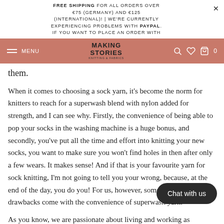FREE SHIPPING FOR ALL ORDERS OVER €75 (GERMANY) AND €125 (INTERNATIONAL)! | WE'RE CURRENTLY EXPERIENCING PROBLEMS WITH PAYPAL. IF YOU WANT TO PLACE AN ORDER WITH
MAKING STORIES KNITTING & FABRICS | MENU | 0
them.
When it comes to choosing a sock yarn, it's become the norm for knitters to reach for a superwash blend with nylon added for strength, and I can see why. Firstly, the convenience of being able to pop your socks in the washing machine is a huge bonus, and secondly, you've put all the time and effort into knitting your new socks, you want to make sure you won't find holes in then after only a few wears. It makes sense! And if that is your favourite yarn for sock knitting, I'm not going to tell you your wrong, because, at the end of the day, you do you! For us, however, some definite drawbacks come with the convenience of superwash yarn.
As you know, we are passionate about living and working as sustainably as possible, and a lot of the processes that are